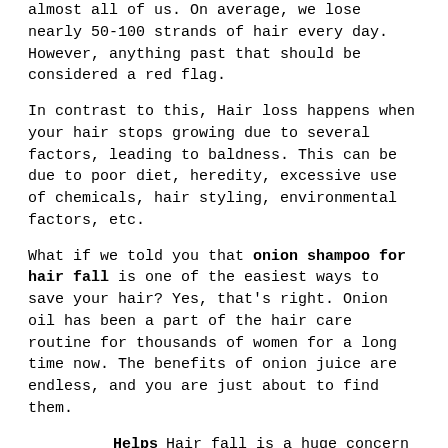almost all of us. On average, we lose nearly 50-100 strands of hair every day. However, anything past that should be considered a red flag.
In contrast to this, Hair loss happens when your hair stops growing due to several factors, leading to baldness. This can be due to poor diet, heredity, excessive use of chemicals, hair styling, environmental factors, etc.
What if we told you that onion shampoo for hair fall is one of the easiest ways to save your hair? Yes, that's right. Onion oil has been a part of the hair care routine for thousands of women for a long time now. The benefits of onion juice are endless, and you are just about to find them.
1. Helps reduce hair — Hair fall is a huge concern for both men and women. Shampoos infused with the goodness of onion extracts provide extra nutrients to your scalp and improve the blood flow to your follicles. Since onion juice contains sulphur, it provides your